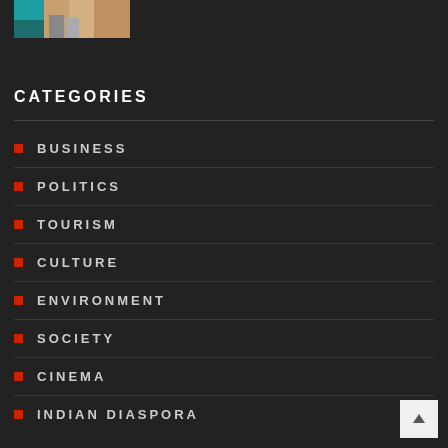[Figure (photo): Partial photo of two people walking, cropped at top of page]
CATEGORIES
BUSINESS
POLITICS
TOURISM
CULTURE
ENVIRONMENT
SOCIETY
CINEMA
INDIAN DIASPORA